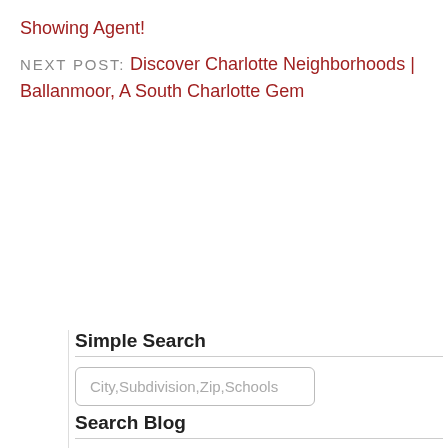Showing Agent!
NEXT POST:  Discover Charlotte Neighborhoods | Ballanmoor, A South Charlotte Gem
Simple Search
City,Subdivision,Zip,Schools
Search Blog
To search, type and hit enter